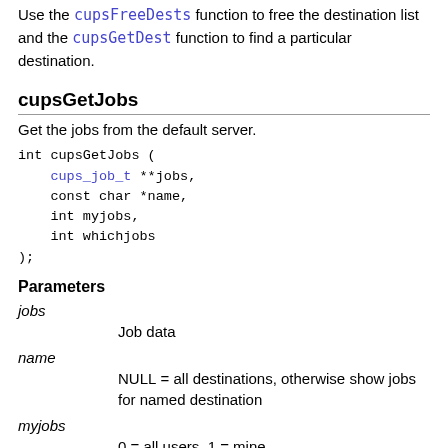Use the cupsFreeDests function to free the destination list and the cupsGetDest function to find a particular destination.
cupsGetJobs
Get the jobs from the default server.
int cupsGetJobs (
    cups_job_t **jobs,
    const char *name,
    int myjobs,
    int whichjobs
);
Parameters
jobs
Job data
name
NULL = all destinations, otherwise show jobs for named destination
myjobs
0 = all users, 1 = mine
whichjobs